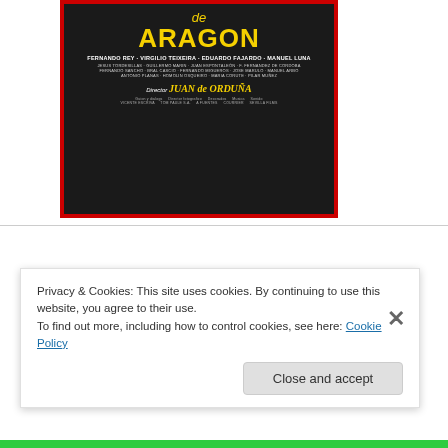[Figure (illustration): Movie poster (top portion) for 'Agustina de Aragon' — dark background with large yellow text reading 'ARAGON' and 'de', with cast credits listing Fernando Rey, Virgilio Teixeira, Eduardo Fajardo, Manuel Luna, and others, directed by Juan de Orduña, bordered in red.]
[Figure (illustration): Movie poster (bottom portion) showing a silver medieval helmet against a bright red background, with a small figure reflected in the visor. Red border.]
Privacy & Cookies: This site uses cookies. By continuing to use this website, you agree to their use.
To find out more, including how to control cookies, see here: Cookie Policy
Close and accept